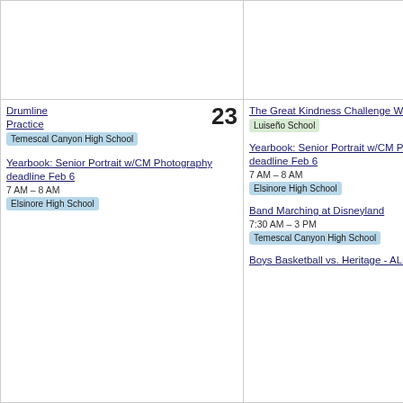| Day 23 | Day 24 | Day 25 | Day 26 (partial) |
| --- | --- | --- | --- |
| (top row - partial content) | (top row - empty) | (top row - empty) | 6 PM... Sc... E (blue tag) |
| Drumline Practice
Temescal Canyon High School (blue)

Yearbook: Senior Portrait w/CM Photography deadline Feb 6
7 AM – 8 AM
Elsinore High School (blue) | The Great Kindness Challenge Week - Twin Day
Luiseño School (green)

Yearbook: Senior Portrait w/CM Photography deadline Feb 6
7 AM – 8 AM
Elsinore High School (blue)

Band Marching at Disneyland
7:30 AM – 3 PM
Temescal Canyon High School (blue)

Boys Basketball vs. Heritage - ALL Levels | The Great Kindness Challenge Week - Dress like someone you admire
Luiseño School (green)

Yearbook: Senior Portrait w/CM Photography deadline Feb 6
7 AM – 8 AM
Elsinore High School (blue)

Underclass Student of the Month
11:30 AM – 12:10 PM
Temescal Canyon High School (blue) | C... Da...
T... H...
The Great Ki... Ch... W... th...
L
Ye... Po... Ph... de...
7 A...
E
AV... M... |